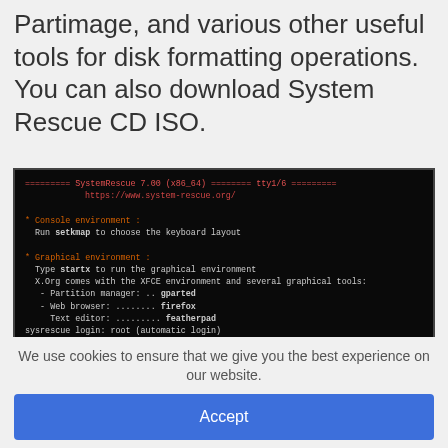Partimage, and various other useful tools for disk formatting operations. You can also download System Rescue CD ISO.
[Figure (screenshot): Terminal screenshot of SystemRescue 7.00 (x86_64) boot screen showing console and graphical environment options, with tools listed including setkmap, startx, gparted, firefox, featherpad. Shows sysrescue login: root (automatic login) and prompt [root@sysrescue ~]#]
We use cookies to ensure that we give you the best experience on our website.
Accept